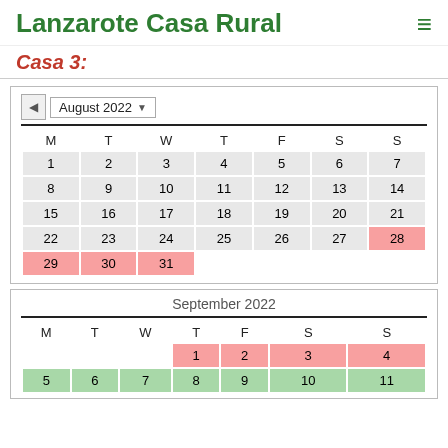Lanzarote Casa Rural
Casa 3:
[Figure (other): August 2022 availability calendar with days 1–31. Days 28, 29, 30, 31 highlighted in pink (booked). Rest of days in grey.]
[Figure (other): September 2022 availability calendar (partial view). Days 1–4 highlighted in pink. Days 5–11 row partially visible with green highlights.]